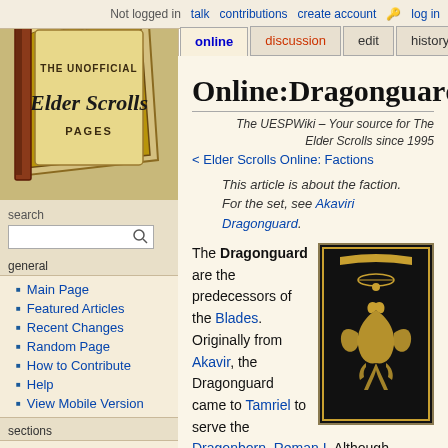Not logged in  talk  contributions  create account  log in
online | discussion | edit | history
[Figure (logo): The Unofficial Elder Scrolls Pages logo — decorative scroll/book image with stylized text]
search
Main Page
Featured Articles
Recent Changes
Random Page
How to Contribute
Help
View Mobile Version
sections
All Content
Lore
Blades
Legends
Online:Dragonguard
The UESPWiki – Your source for The Elder Scrolls since 1995
< Elder Scrolls Online: Factions
This article is about the faction. For the set, see Akaviri Dragonguard.
[Figure (illustration): Dark banner/flag with gold dragon emblem design — Dragonguard insignia]
The Dragonguard are the predecessors of the Blades. Originally from Akavir, the Dragonguard came to Tamriel to serve the Dragonborn, Reman I. Although officially disbanded at the end of the First Era, the Dragonguard continue to